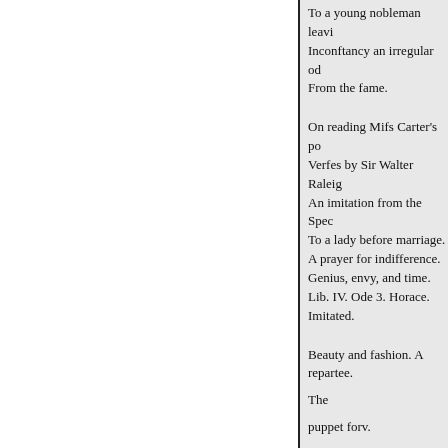To a young nobleman leaving. Inconftancy an irregular ode. From the fame.
On reading Mifs Carter's po. Verfes by Sir Walter Raleigh. An imitation from the Spec. To a lady before marriage. A prayer for indifference. Genius, envy, and time. Lib. IV. Ode 3. Horace. Imitated.
Beauty and fashion. A repartee.
The
puppet forv.
Prologue to Florizel and Perdita
Ode for the new year 1762.
151
155